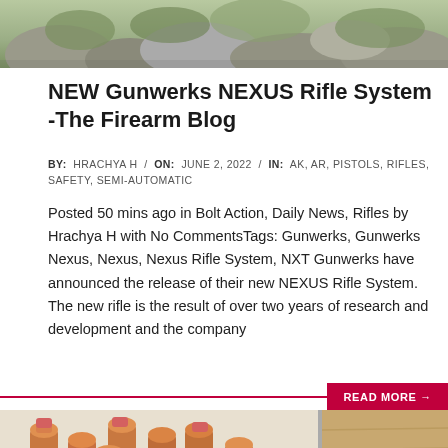[Figure (photo): Top portion of an outdoor nature/rocks photo, partially cut off at the top of the page]
NEW Gunwerks NEXUS Rifle System -The Firearm Blog
BY: HRACHYA H / ON: JUNE 2, 2022 / IN: AK, AR, PISTOLS, RIFLES, SAFETY, SEMI-AUTOMATIC
Posted 50 mins ago in Bolt Action, Daily News, Rifles by Hrachya H with No CommentsTags: Gunwerks, Gunwerks Nexus, Nexus, Nexus Rifle System, NXT Gunwerks have announced the release of their new NEXUS Rifle System. The new rifle is the result of over two years of research and development and the company
[Figure (photo): Bottom portion showing two images: left side shows copper-tipped bullets standing upright in a box/tray, right side shows a rifle on a wooden surface with a red-tipped bullet nearby]